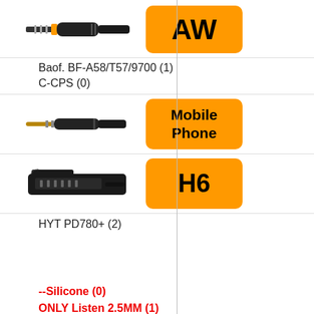[Figure (photo): AW connector plug (small 4-pole jack with orange ring) next to orange badge labeled AW]
Baof. BF-A58/T57/9700  (1)
C-CPS  (0)
[Figure (photo): Mobile phone 3.5mm stereo jack connector next to orange badge labeled Mobile Phone]
[Figure (photo): H6 multi-pin clip connector next to orange badge labeled H6]
HYT PD780+  (2)
--Silicone   (0)
ONLY Listen 2.5MM  (1)
ONLY Listen 3.5MM  (12)